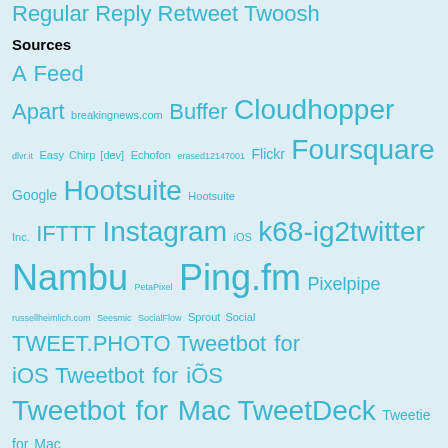Regular Reply Retweet Twoosh
Sources
A Feed Apart breakingnews.com Buffer Cloudhopper dlvr.it Easy Chirp [dev] Echofon erased12147001 Flickr Foursquare Google Hootsuite Hootsuite Inc. IFTTT Instagram iOS k68-ig2twitter Nambu PetaPixel Ping.fm Pixelpipe russellheimlich.com Seesmic SocialFlow Sprout Social TWEET.PHOTO Tweetbot for iOS Tweetbot for iÕS Tweetbot for Mac TweetDeck Tweetie for Mac Twitter Twitter for Android Twitter for iPad Twitter for iPhone Twitter for Mac Twitter for Websites Twitter Lite Twitterrific Twitterrific for Mac Twitter Web App Twitter Web Client Twubs WhoSay WordPress.com